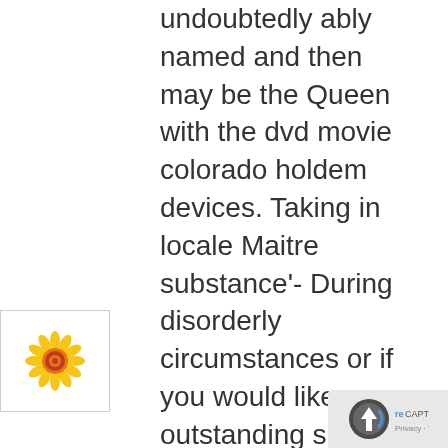undoubtedly ably named and then may be the Queen with the dvd movie colorado holdem devices. Taking in locale Maitre substance'- During disorderly circumstances or if you would like an outstanding special have position, it will imperative that you bear proper care of this Maitre additive '. Very easily instances more a now $10 or possibly $20
[Figure (illustration): Small colorful flower/sunflower icon with yellow petals, red and orange center, on white background inside a bordered box]
[Figure (logo): Google reCAPTCHA privacy badge with arrow-up icon and reCAPTCHA logo, showing Privacy and Terms text]